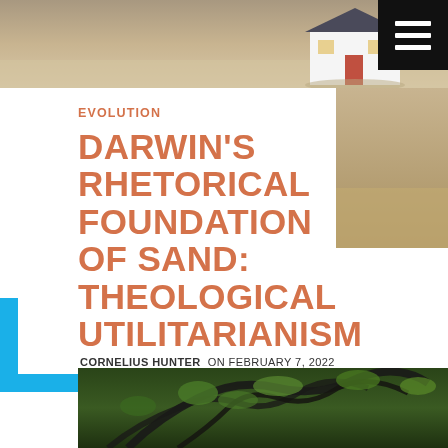[Figure (photo): Top banner photo of a small house model on sand, with a hamburger menu icon in the top-right corner]
EVOLUTION
DARWIN'S RHETORICAL FOUNDATION OF SAND: THEOLOGICAL UTILITARIANISM
CORNELIUS HUNTER ON FEBRUARY 7, 2022
[Figure (photo): Bottom photo showing a large tree with dark twisting branches and green leaves]